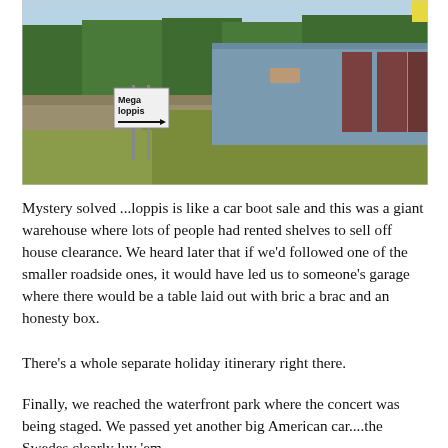[Figure (photo): Outdoor photograph showing a roadside sign reading 'Mega loppis' with an arrow pointing right, and a large blue metal warehouse building in the background. Surrounding area has gravel, grass, and trees.]
Mystery solved ...loppis is like a car boot sale and this was a giant warehouse where lots of people had rented shelves to sell off house clearance. We heard later that if we'd followed one of the smaller roadside ones, it would have led us to someone's garage where there would be a table laid out with bric a brac and an honesty box.
There's a whole separate holiday itinerary right there.
Finally, we reached the waterfront park where the concert was being staged. We passed yet another big American car....the Swedes clearly luv 'em.